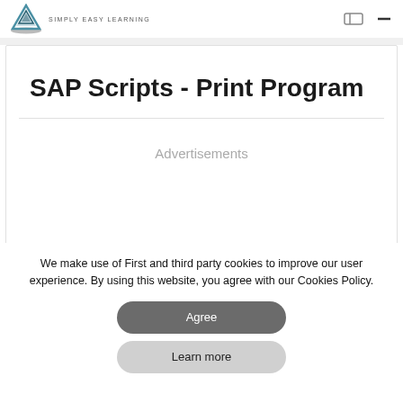Tutorials Point - SIMPLY EASY LEARNING
SAP Scripts - Print Program
Advertisements
We make use of First and third party cookies to improve our user experience. By using this website, you agree with our Cookies Policy.
Agree
Learn more